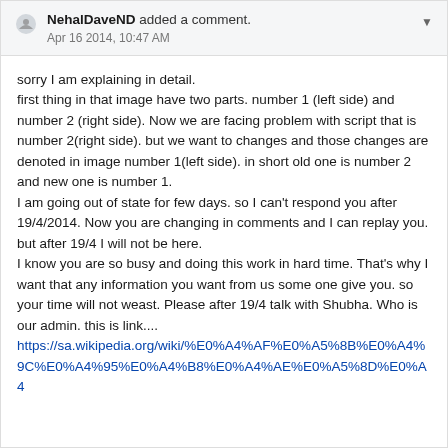NehalDaveND added a comment. Apr 16 2014, 10:47 AM
sorry I am explaining in detail.
first thing in that image have two parts. number 1 (left side) and number 2 (right side). Now we are facing problem with script that is number 2(right side). but we want to changes and those changes are denoted in image number 1(left side). in short old one is number 2 and new one is number 1.
I am going out of state for few days. so I can't respond you after 19/4/2014. Now you are changing in comments and I can replay you. but after 19/4 I will not be here.
I know you are so busy and doing this work in hard time. That's why I want that any information you want from us some one give you. so your time will not weast. Please after 19/4 talk with Shubha. Who is our admin. this is link.... https://sa.wikipedia.org/wiki/%E0%A4%AF%E0%A5%8B%E0%A4%9C%E0%A4%95%E0%A4%B8%E0%A4%AE%E0%A5%8D%E0%A4